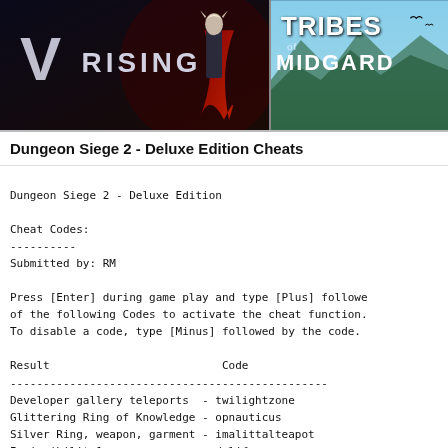[Figure (screenshot): Two game banner images side by side: V Rising (left) and Tribes of Midgard (right)]
Dungeon Siege 2 - Deluxe Edition Cheats
Dungeon Siege 2 - Deluxe Edition

Cheat Codes:
----------
Submitted by: RM

Press [Enter] during game play and type [Plus] followed by one of the following Codes to activate the cheat function.
To disable a code, type [Minus] followed by the code.

Result                          Code
------------------------------------------------
Developer gallery teleports  - twilightzone
Glittering Ring of Knowledge - opnauticus
Silver Ring, weapon, garment - imalittalteapot
Invincibility1               - drlife
Display version              - version

1. This code must be reactivated every time you complete